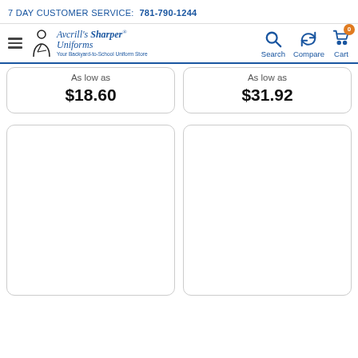7 DAY CUSTOMER SERVICE:  781-790-1244
[Figure (logo): Avcrill's Sharper Uniforms logo with navigation bar including Search, Compare, and Cart (0) icons]
As low as
$18.60
As low as
$31.92